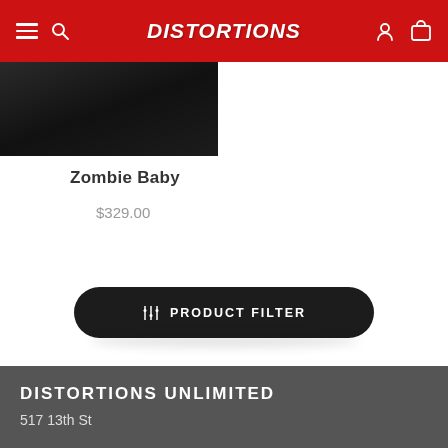Distortions
[Figure (photo): Partial product image showing dark background with zombie baby prop, top portion cropped]
Zombie Baby
$329.00
PRODUCT FILTER
DISTORTIONS UNLIMITED
517 13th St